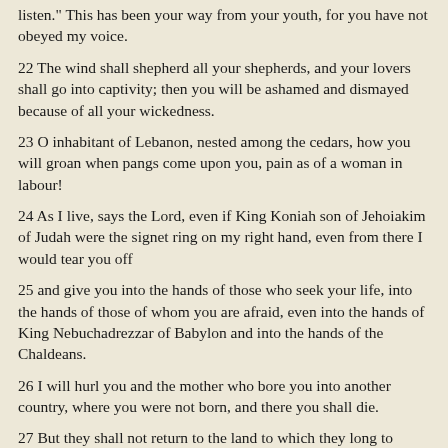listen." This has been your way from your youth, for you have not obeyed my voice.
22 The wind shall shepherd all your shepherds, and your lovers shall go into captivity; then you will be ashamed and dismayed because of all your wickedness.
23 O inhabitant of Lebanon, nested among the cedars, how you will groan when pangs come upon you, pain as of a woman in labour!
24 As I live, says the Lord, even if King Koniah son of Jehoiakim of Judah were the signet ring on my right hand, even from there I would tear you off
25 and give you into the hands of those who seek your life, into the hands of those of whom you are afraid, even into the hands of King Nebuchadrezzar of Babylon and into the hands of the Chaldeans.
26 I will hurl you and the mother who bore you into another country, where you were not born, and there you shall die.
27 But they shall not return to the land to which they long to return.